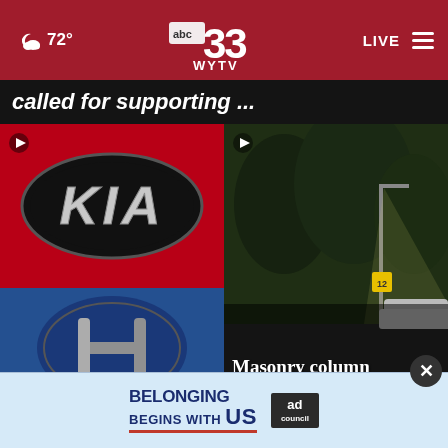72° abc 33 WYTV LIVE
called for supporting ...
[Figure (photo): KIA logo on red car]
[Figure (photo): Dark road at night with trees and street lights]
[Figure (photo): Hyundai logo on blue car with headline: City threatens to sue Kia and Hyundai, says cars ...]
[Figure (photo): Dark outdoor scene with headline: Masonry column supporting hammocks collapses, killing ...]
[Figure (photo): Greyscale industrial tower photo]
[Figure (photo): Colorful round pills/tablets]
BELONGING BEGINS WITH US
ad council